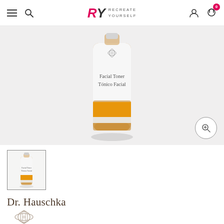RY RECREATE YOURSELF — navigation header with menu, search, logo, account, and cart icons
[Figure (photo): Dr. Hauschka Facial Toner / Tónico Facial product bottle — tall glass bottle with amber liquid, white label with orange stripe band at bottom, shown on light gray background]
[Figure (photo): Thumbnail of Dr. Hauschka Facial Toner bottle, same product shown smaller in a square thumbnail with border]
Dr. Hauschka
[Figure (logo): Dr. Hauschka brand logo — stylized concentric oval/feather motif in gray]